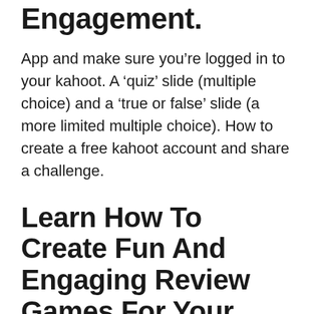Engagement.
App and make sure you’re logged in to your kahoot. A ‘quiz’ slide (multiple choice) and a ‘true or false’ slide (a more limited multiple choice). How to create a free kahoot account and share a challenge.
Learn How To Create Fun And Engaging Review Games For Your Students With Kahoot!
Click to choose a template or create a new game from scratch. Click on the sign up for free button on the home page. You will need to supply the following information when